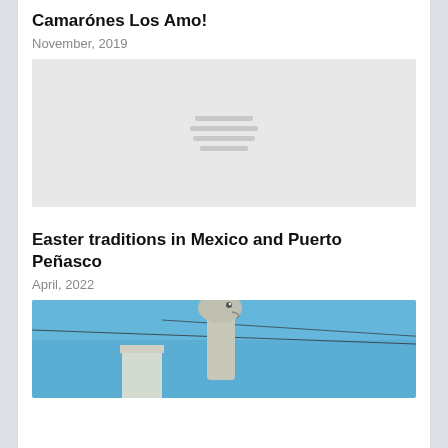Camarónes Los Amo!
November, 2019
[Figure (photo): Placeholder image with horizontal lines icon indicating a loading or missing image]
Easter traditions in Mexico and Puerto Peñasco
April, 2022
[Figure (photo): Photo of a dinosaur statue against a blue sky with power lines visible]